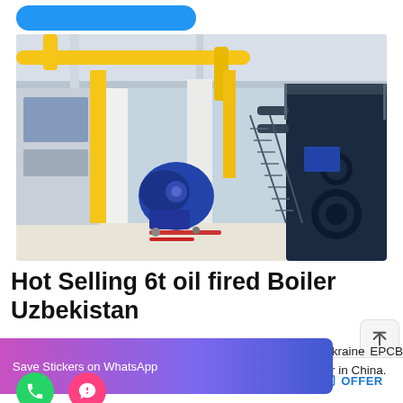[Figure (photo): Industrial boiler room showing large industrial boilers with yellow pipes, steel staircases, a large dark blue cylindrical boiler unit on the right, and white structural columns. The facility has a high ceiling with natural light.]
Hot Selling 6t oil fired Boiler Uzbekistan
rgy Saving Cheap Ukraine EPCB al boiler manufacturer in China.
MAIL   ADVISORY   OFFER